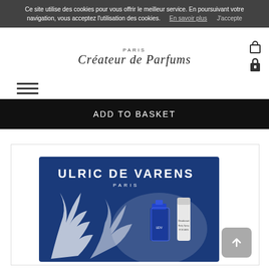Ce site utilise des cookies pour vous offrir le meilleur service. En poursuivant votre navigation, vous acceptez l'utilisation des cookies.   En savoir plus   J'accepte
[Figure (logo): Ulric de Varens Paris - Créateur de Parfums logo with shopping bag and lock icons]
[Figure (other): Hamburger menu icon with three horizontal lines]
ADD TO BASKET
[Figure (photo): Ulric de Varens Paris product gift set box in blue with white decorative plant motifs, showing a perfume bottle and body spray/deodorant]